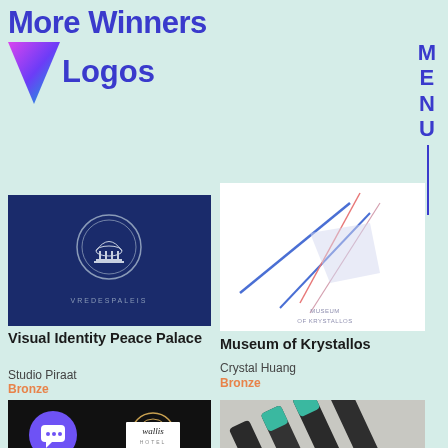More Winners in Logos
[Figure (logo): Vredespaleis logo on dark navy background with circular emblem and text VREDESPALEIS]
Visual Identity Peace Palace
Studio Piraat
Bronze
[Figure (logo): Museum of Krystallos logo: intersecting colored lines (blue, red, pink) on white background with text MUSEUM OF KRYSTALLOS]
Museum of Krystallos
Crystal Huang
Bronze
[Figure (logo): Dark background with purple circle chat bubble icon and wallis hotel logo]
[Figure (photo): Close-up of dark and teal colored twisted/angled pencils or cylinders]